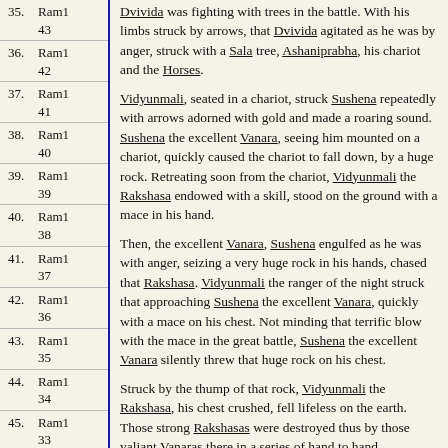35. Ram1 43
36. Ram1 42
37. Ram1 41
38. Ram1 40
39. Ram1 39
40. Ram1 38
41. Ram1 37
42. Ram1 36
43. Ram1 35
44. Ram1 34
45. Ram1 33
46. Ram1 32
47. Ram1
Dvivida was fighting with trees in the battle. With his limbs struck by arrows, that Dvivida agitated as he was by anger, struck with a Sala tree, Ashaniprabha, his chariot and the Horses.
Vidyunmali, seated in a chariot, struck Sushena repeatedly with arrows adorned with gold and made a roaring sound. Sushena the excellent Vanara, seeing him mounted on a chariot, quickly caused the chariot to fall down, by a huge rock. Retreating soon from the chariot, Vidyunmali the Rakshasa endowed with a skill, stood on the ground with a mace in his hand.
Then, the excellent Vanara, Sushena engulfed as he was with anger, seizing a very huge rock in his hands, chased that Rakshasa. Vidyunmali the ranger of the night struck that approaching Sushena the excellent Vanara, quickly with a mace on his chest. Not minding that terrific blow with the mace in the great battle, Sushena the excellent Vanara silently threw that huge rock on his chest.
Struck by the thump of that rock, Vidyunmali the Rakshasa, his chest crushed, fell lifeless on the earth. Those strong Rakshasas were destroyed thus by those valiant Vanaras there in a series of hand to hand encounters, as the Daityas were destroyed by the blows of the Devas. The battle field became frightening with extra ordinary spears, other arrows, maces, javelins, lances and some other weapons with three points, shattered chariots and military steeds